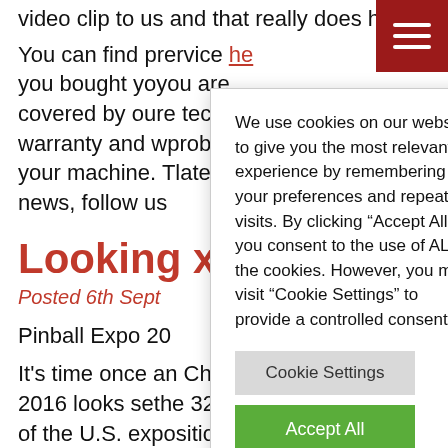video clip to us and that really does help!
You can find product support and service here. If you bought you machine from us, you are covered by our technical warranty and we can sort out any problems with your machine. To get the latest pinball news, follow us
Looking ... Expo 2016
Posted 6th Sept
Pinball Expo 2016
It's time once a... in Chicago and 2016 looks set ... the 32nd year of the U.S. exposition, the event will be a celebration of things pinball, featuring classic pinball machines for sale to play from all eras alongside the latest in new technology.
We use cookies on our website to give you the most relevant experience by remembering your preferences and repeat visits. By clicking “Accept All”, you consent to the use of ALL the cookies. However, you may visit “Cookie Settings” to provide a controlled consent.